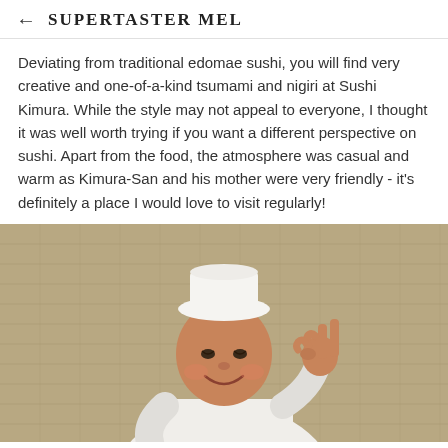← SUPERTASTER MEL
Deviating from traditional edomae sushi, you will find very creative and one-of-a-kind tsumami and nigiri at Sushi Kimura. While the style may not appeal to everyone, I thought it was well worth trying if you want a different perspective on sushi. Apart from the food, the atmosphere was casual and warm as Kimura-San and his mother were very friendly - it's definitely a place I would love to visit regularly!
[Figure (photo): A Japanese sushi chef wearing a white uniform and white cap, smiling and making a peace sign with his right hand. The background is a warm golden-brown woven texture.]